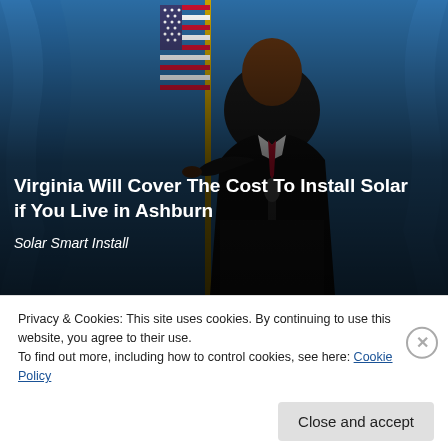[Figure (photo): A person in a dark suit with a red tie pointing at the camera at a podium, with a US flag and blue curtain background. Text overlay reads 'Virginia Will Cover The Cost To Install Solar if You Live in Ashburn' and 'Solar Smart Install' in italic.]
Virginia Will Cover The Cost To Install Solar if You Live in Ashburn
Solar Smart Install
Privacy & Cookies: This site uses cookies. By continuing to use this website, you agree to their use.
To find out more, including how to control cookies, see here: Cookie Policy